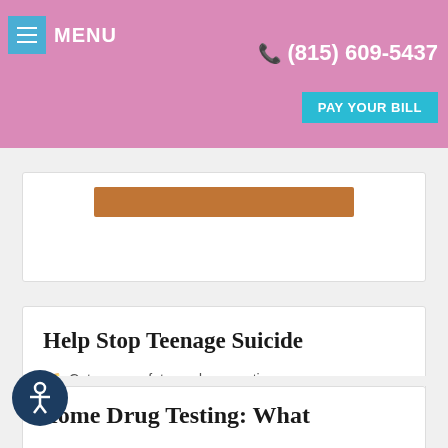MENU  (815) 609-5437  PAY YOUR BILL
Help Stop Teenage Suicide
Category: safety_and_prevention
READ MORE
Home Drug Testing: What